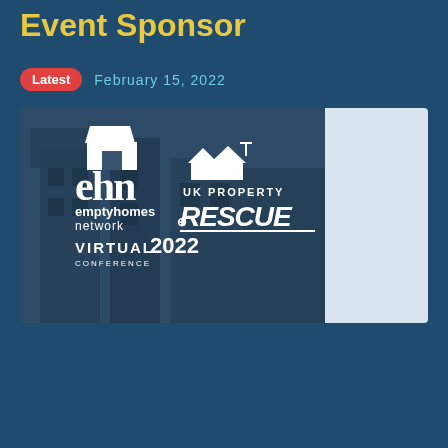Event Sponsor
Latest   February 15, 2022
[Figure (logo): Banner image showing 'emptyhomes network VIRTUAL CONFERENCE 2022' logo on left and 'UK PROPERTY RESCUE' logo on right, over a dark blue toned background of derelict buildings. Right portion of banner is light grey/white.]